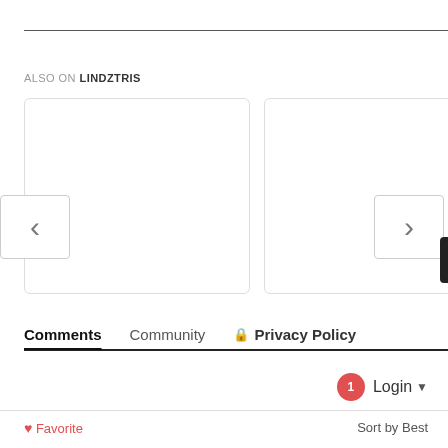ALSO ON LINDZTRIS
[Figure (screenshot): Two card placeholders with left chevron navigation and right chevron navigation arrows, plus a scrollbar handle on the right edge]
Comments  Community  🔒 Privacy Policy
Login ▾
Favorite  Sort by Best